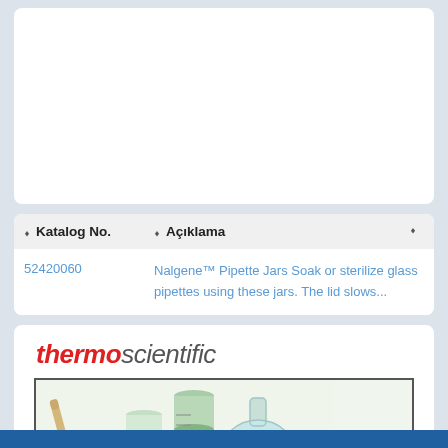| Katalog No. | Açıklama |
| --- | --- |
| 52420060 | Nalgene™ Pipette Jars Soak or sterilize glass pipettes using these jars. The lid slows... |
[Figure (logo): Thermo Scientific logo - 'thermo' in red italic and 'scientific' in gray]
[Figure (illustration): Laboratory glassware illustration showing pipette, graduated cylinders, test tubes, and flasks with colored liquids on a light green background]